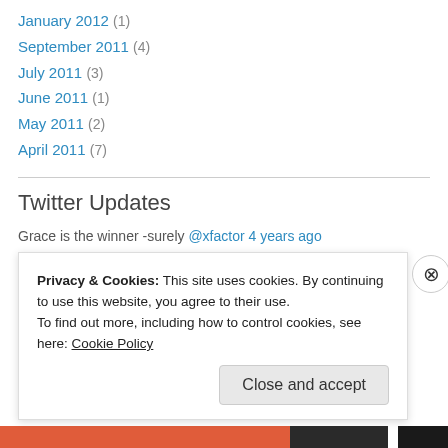January 2012 (1)
September 2011 (4)
July 2011 (3)
June 2011 (1)
May 2011 (2)
April 2011 (7)
Twitter Updates
Grace is the winner -surely @xfactor 4 years ago
Quotable - Agatha Christie - Writers Write Creative Blog via @pinterest pinterest.com/pin/A9tJiAAOAH… 6 years ago
Privacy & Cookies: This site uses cookies. By continuing to use this website, you agree to their use.
To find out more, including how to control cookies, see here: Cookie Policy
Close and accept